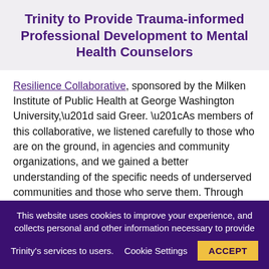Trinity to Provide Trauma-informed Professional Development to Mental Health Counselors
Resilience Collaborative, sponsored by the Milken Institute of Public Health at George Washington University,” said Greer. “As members of this collaborative, we listened carefully to those who are on the ground, in agencies and community organizations, and we gained a better understanding of the specific needs of underserved communities and those who serve them. Through the D.C. BCR Collaborative, I met Dr. Hayling-Williams and learned about the important work of Community Wellness Services. We forged a partnership that we know will make a positive impact in
This website uses cookies to improve your experience, and collects personal and other information necessary to provide Trinity’s services to users. Cookie Settings ACCEPT